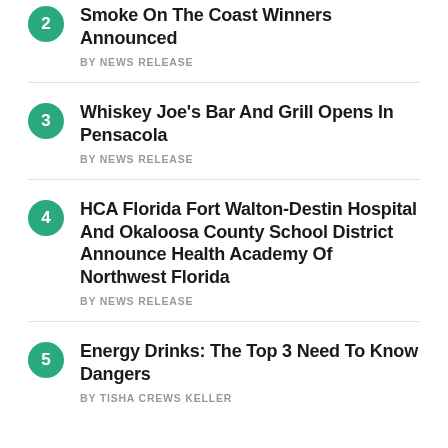Smoke On The Coast Winners Announced
Whiskey Joe's Bar And Grill Opens In Pensacola
HCA Florida Fort Walton-Destin Hospital And Okaloosa County School District Announce Health Academy Of Northwest Florida
Energy Drinks: The Top 3 Need To Know Dangers